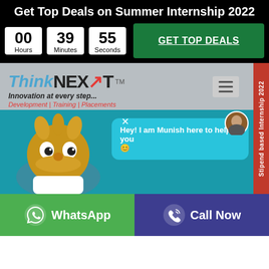Get Top Deals on Summer Internship 2022
00 Hours  39 Minutes  55 Seconds
GET TOP DEALS
[Figure (logo): ThinkNEXT logo with tagline: Innovation at every step... Development | Training | Placements]
[Figure (screenshot): Teal website section with cartoon character (Lorax-like) and chat bubble: Hey! I am Munish here to help you 😊. Stipend based Internship 2022 red vertical tab on right.]
Hey! I am Munish here to help you 😊
WhatsApp
Call Now